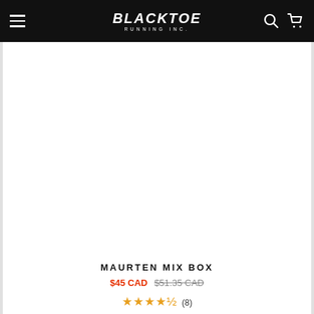BLACKTOE RUNNING INC.
[Figure (photo): Product photo area for Maurten Mix Box — appears blank/white in this view]
MAURTEN MIX BOX
$45 CAD $51.35 CAD
★★★★½ (8)